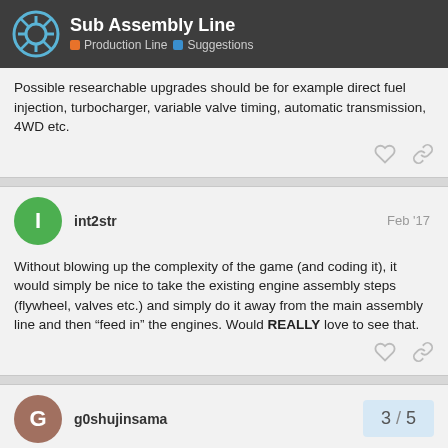Sub Assembly Line — Production Line | Suggestions
Possible researchable upgrades should be for example direct fuel injection, turbocharger, variable valve timing, automatic transmission, 4WD etc.
int2str — Feb '17
Without blowing up the complexity of the game (and coding it), it would simply be nice to take the existing engine assembly steps (flywheel, valves etc.) and simply do it away from the main assembly line and then “feed in” the engines. Would REALLY love to see that.
g0shujinsama
3 / 5